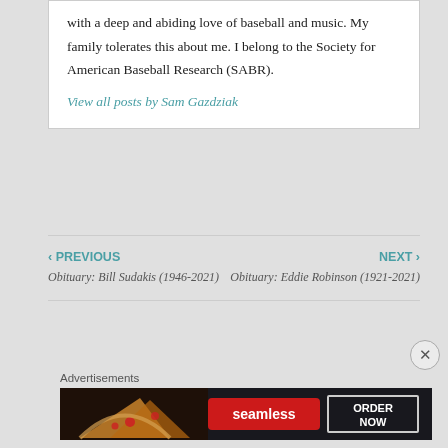with a deep and abiding love of baseball and music. My family tolerates this about me. I belong to the Society for American Baseball Research (SABR).
View all posts by Sam Gazdziak
‹ PREVIOUS
Obituary: Bill Sudakis (1946-2021)
NEXT ›
Obituary: Eddie Robinson (1921-2021)
Advertisements
[Figure (other): Seamless food delivery advertisement banner showing pizza image on left, red Seamless logo button in center, and ORDER NOW box on right, dark background.]